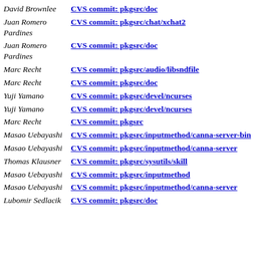David Brownlee | CVS commit: pkgsrc/doc
Juan Romero Pardines | CVS commit: pkgsrc/chat/xchat2
Juan Romero Pardines | CVS commit: pkgsrc/doc
Marc Recht | CVS commit: pkgsrc/audio/libsndfile
Marc Recht | CVS commit: pkgsrc/doc
Yuji Yamano | CVS commit: pkgsrc/devel/ncurses
Yuji Yamano | CVS commit: pkgsrc/devel/ncurses
Marc Recht | CVS commit: pkgsrc
Masao Uebayashi | CVS commit: pkgsrc/inputmethod/canna-server-bin
Masao Uebayashi | CVS commit: pkgsrc/inputmethod/canna-server
Thomas Klausner | CVS commit: pkgsrc/sysutils/skill
Masao Uebayashi | CVS commit: pkgsrc/inputmethod
Masao Uebayashi | CVS commit: pkgsrc/inputmethod/canna-server
Lubomir Sedlacik | CVS commit: pkgsrc/doc